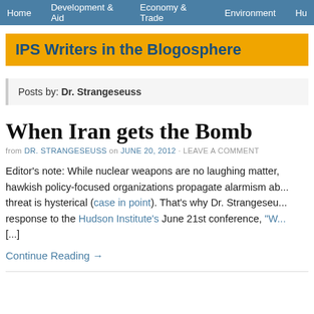Home   Development & Aid   Economy & Trade   Environment   Hu
IPS Writers in the Blogosphere
Posts by: Dr. Strangeseuss
When Iran gets the Bomb
from DR. STRANGESEUSS on JUNE 20, 2012 · LEAVE A COMMENT
Editor's note: While nuclear weapons are no laughing matter, hawkish policy-focused organizations propagate alarmism ab... threat is hysterical (case in point). That's why Dr. Strangeseu... response to the Hudson Institute's June 21st conference, "W... [...]
Continue Reading →